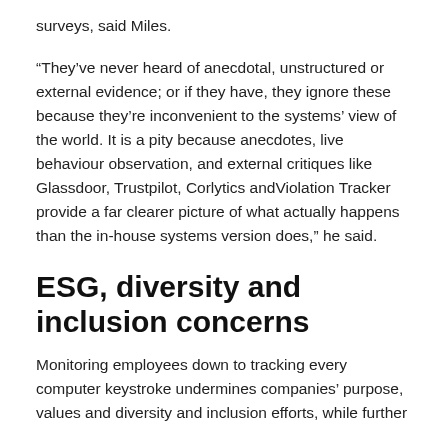surveys, said Miles.
“They’ve never heard of anecdotal, unstructured or external evidence; or if they have, they ignore these because they’re inconvenient to the systems’ view of the world. It is a pity because anecdotes, live behaviour observation, and external critiques like Glassdoor, Trustpilot, Corlytics andViolation Tracker provide a far clearer picture of what actually happens than the in-house systems version does,” he said.
ESG, diversity and inclusion concerns
Monitoring employees down to tracking every computer keystroke undermines companies’ purpose, values and diversity and inclusion efforts, while further